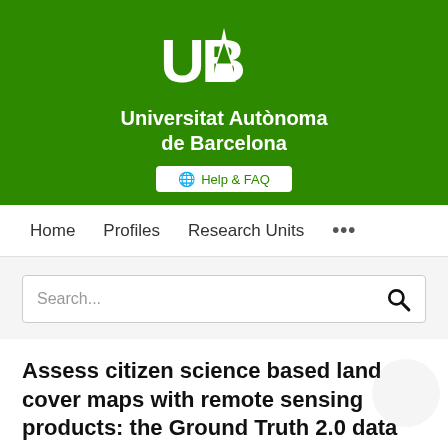[Figure (logo): UAB (Universitat Autònoma de Barcelona) logo and name on green background with Help & FAQ button]
Home   Profiles   Research Units   ...
Search...
Assess citizen science based land cover maps with remote sensing products: the Ground Truth 2.0 data